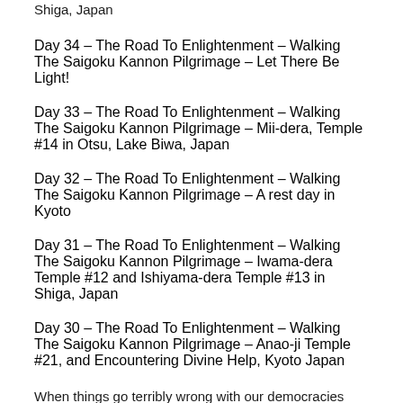Shiga, Japan
Day 34 – The Road To Enlightenment – Walking The Saigoku Kannon Pilgrimage – Let There Be Light!
Day 33 – The Road To Enlightenment – Walking The Saigoku Kannon Pilgrimage – Mii-dera, Temple #14 in Otsu, Lake Biwa, Japan
Day 32 – The Road To Enlightenment – Walking The Saigoku Kannon Pilgrimage – A rest day in Kyoto
Day 31 – The Road To Enlightenment – Walking The Saigoku Kannon Pilgrimage – Iwama-dera Temple #12 and Ishiyama-dera Temple #13 in Shiga, Japan
Day 30 – The Road To Enlightenment – Walking The Saigoku Kannon Pilgrimage – Anao-ji Temple #21, and Encountering Divine Help, Kyoto Japan
When things go terribly wrong with our democracies